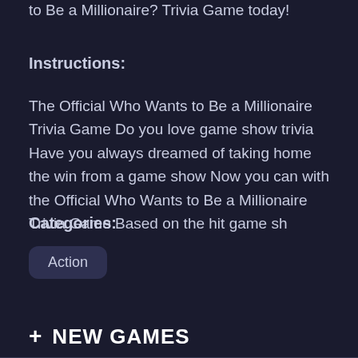to Be a Millionaire? Trivia Game today!
Instructions:
The Official Who Wants to Be a Millionaire Trivia Game Do you love game show trivia Have you always dreamed of taking home the win from a game show Now you can with the Official Who Wants to Be a Millionaire Trivia Game Based on the hit game sh
Categories:
Action
+ NEW GAMES